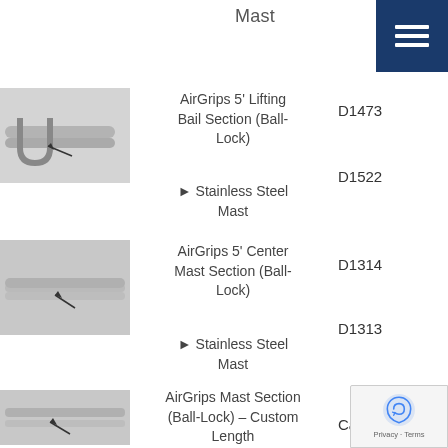Mast
[Figure (photo): Photo of AirGrips 5' Lifting Bail Section (Ball-Lock) mast component, metallic tube with U-bend]
AirGrips 5' Lifting Bail Section (Ball-Lock)
► Stainless Steel Mast
D1473
D1522
[Figure (photo): Photo of AirGrips 5' Center Mast Section (Ball-Lock) mast component, metallic straight rod with arrow marker]
AirGrips 5' Center Mast Section (Ball-Lock)
► Stainless Steel Mast
D1314
D1313
[Figure (photo): Photo of AirGrips Mast Section (Ball-Lock) Custom Length, metallic rods with arrow marker]
AirGrips Mast Section (Ball-Lock) – Custom Length
► Stainless Steel Mast – Custom Length
Call
Call